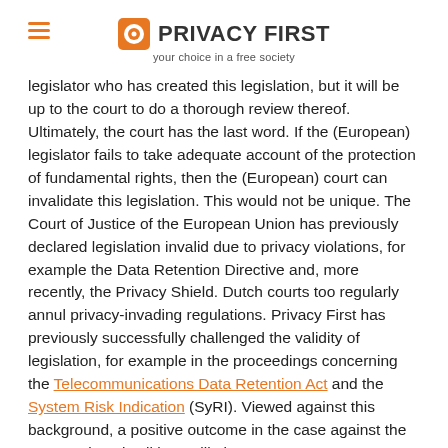PRIVACY FIRST — your choice in a free society
legislator who has created this legislation, but it will be up to the court to do a thorough review thereof. Ultimately, the court has the last word. If the (European) legislator fails to take adequate account of the protection of fundamental rights, then the (European) court can invalidate this legislation. This would not be unique. The Court of Justice of the European Union has previously declared legislation invalid due to privacy violations, for example the Data Retention Directive and, more recently, the Privacy Shield. Dutch courts too regularly annul privacy-invading regulations. Privacy First has previously successfully challenged the validity of legislation, for example in the proceedings concerning the Telecommunications Data Retention Act and the System Risk Indication (SyRI). Viewed against this background, a positive outcome in the case against the UBO register is all but unlikely.